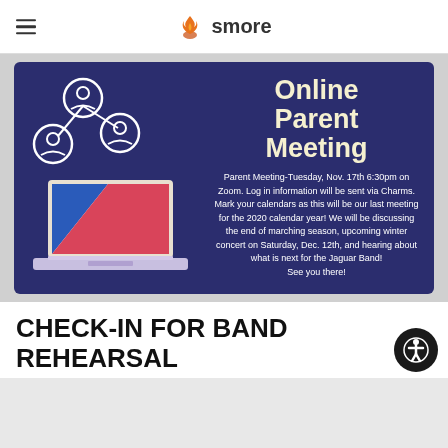smore
[Figure (infographic): Online Parent Meeting flyer with dark blue background. Left side shows network icons of people (circles with person silhouettes connected by lines) above an illustration of a laptop with blue and pink/red screen. Right side has large bold text 'Online Parent Meeting' and body text about the meeting details.]
Parent Meeting-Tuesday, Nov. 17th 6:30pm on Zoom. Log in information will be sent via Charms. Mark your calendars as this will be our last meeting for the 2020 calendar year! We will be discussing the end of marching season, upcoming winter concert on Saturday, Dec. 12th, and hearing about what is next for the Jaguar Band! See you there!
CHECK-IN FOR BAND REHEARSAL